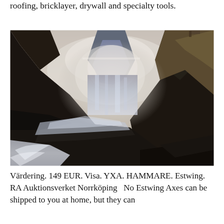roofing, bricklayer, drywall and specialty tools.
[Figure (photo): Photograph of a large waterfall with mist rising, rocky cliffs on both sides, rushing white water in the foreground, dramatic landscape scene.]
Värdering. 149 EUR. Visa. YXA. HAMMARE. Estwing. RA Auktionsverket Norrköping  No Estwing Axes can be shipped to you at home, but they can